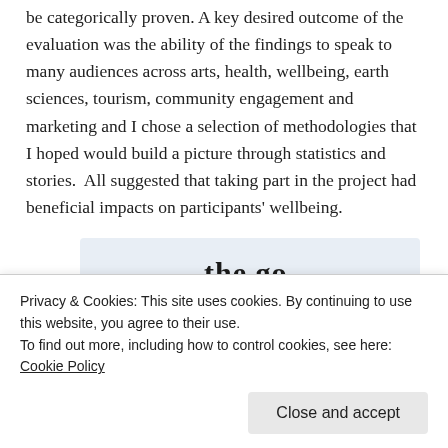be categorically proven. A key desired outcome of the evaluation was the ability of the findings to speak to many audiences across arts, health, wellbeing, earth sciences, tourism, community engagement and marketing and I chose a selection of methodologies that I hoped would build a picture through statistics and stories.  All suggested that taking part in the project had beneficial impacts on participants' wellbeing.
[Figure (screenshot): App advertisement banner showing 'the go.' in bold serif text, 'GET THE APP' in blue uppercase sans-serif, and a WordPress logo icon]
Privacy & Cookies: This site uses cookies. By continuing to use this website, you agree to their use.
To find out more, including how to control cookies, see here: Cookie Policy